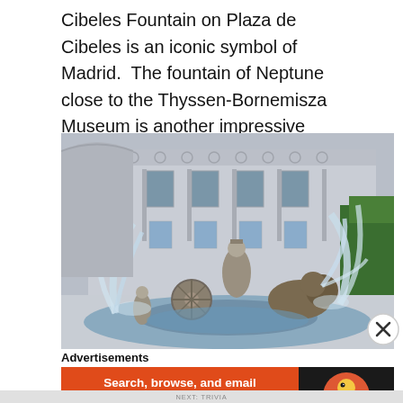Cibeles Fountain on Plaza de Cibeles is an iconic symbol of Madrid.  The fountain of Neptune close to the Thyssen-Bornemisza Museum is another impressive fountain.
[Figure (photo): Photo of the Cibeles Fountain in Madrid showing the goddess Cybele statue seated on a chariot pulled by lions, with water jets spraying from the fountain, and a grand neoclassical building in the background.]
Advertisements
[Figure (other): DuckDuckGo advertisement banner with orange background on left reading 'Search, browse, and email with more privacy. All in One Free App' and dark background on right showing DuckDuckGo logo.]
NEXT: TRIVIA